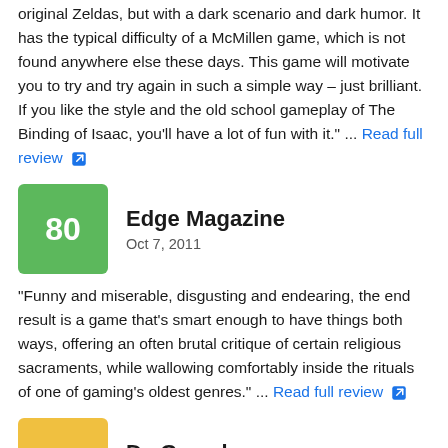original Zeldas, but with a dark scenario and dark humor. It has the typical difficulty of a McMillen game, which is not found anywhere else these days. This game will motivate you to try and try again in such a simple way – just brilliant. If you like the style and the old school gameplay of The Binding of Isaac, you'll have a lot of fun with it." ... Read full review
Edge Magazine
Oct 7, 2011
"Funny and miserable, disgusting and endearing, the end result is a game that's smart enough to have things both ways, offering an often brutal critique of certain religious sacraments, while wallowing comfortably inside the rituals of one of gaming's oldest genres." ... Read full review
Da Gameboyz
Oct 2, 2011